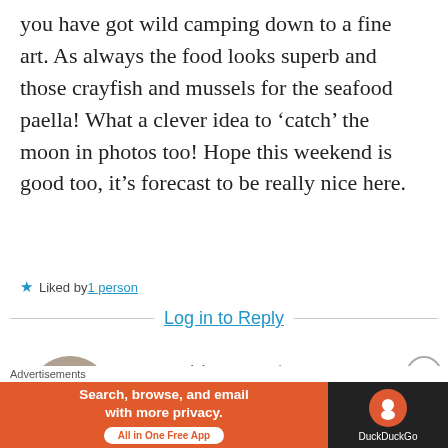you have got wild camping down to a fine art. As always the food looks superb and those crayfish and mussels for the seafood paella! What a clever idea to ‘catch’ the moon in photos too! Hope this weekend is good too, it’s forecast to be really nice here.
★ Liked by 1 person
Log in to Reply
[Figure (photo): Circular avatar photo showing two people in a gym setting, one in blue shirt and one in pink top.]
wetanddustyroad
MAY 6, 2022 AT 9:09 PM
Advertisements
[Figure (other): DuckDuckGo advertisement banner: orange background with text 'Search, browse, and email with more privacy. All in One Free App' and DuckDuckGo logo on dark background.]